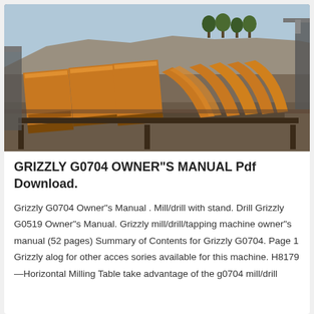[Figure (photo): Outdoor industrial mining site showing rows of large orange and black vibratory screening machines or feeders arranged in a quarry setting with rock face and trees in background.]
GRIZZLY G0704 OWNER"S MANUAL Pdf Download.
Grizzly G0704 Owner"s Manual . Mill/drill with stand. Drill Grizzly G0519 Owner"s Manual. Grizzly mill/drill/tapping machine owner"s manual (52 pages) Summary of Contents for Grizzly G0704. Page 1 Grizzly alog for other acces sories available for this machine. H8179—Horizontal Milling Table take advantage of the g0704 mill/drill